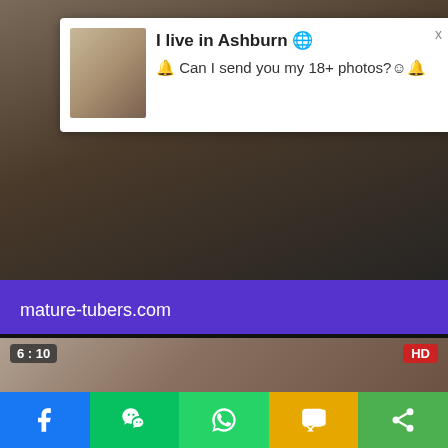[Figure (screenshot): Adult video website screenshot showing a video thumbnail with two people, overlaid by a popup notification dialog]
I live in Ashburn 🌐
🔔 Can I send you my 18+ photos?😊🔔
mature-tubers.com
6 : 10
HD